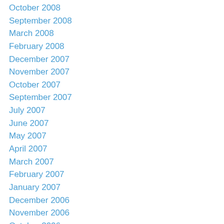October 2008
September 2008
March 2008
February 2008
December 2007
November 2007
October 2007
September 2007
July 2007
June 2007
May 2007
April 2007
March 2007
February 2007
January 2007
December 2006
November 2006
October 2006
September 2006
August 2006